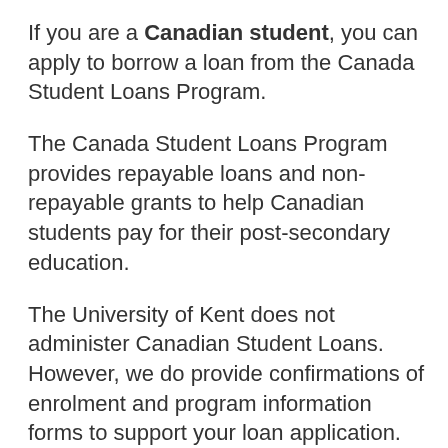If you are a Canadian student, you can apply to borrow a loan from the Canada Student Loans Program.
The Canada Student Loans Program provides repayable loans and non-repayable grants to help Canadian students pay for their post-secondary education.
The University of Kent does not administer Canadian Student Loans. However, we do provide confirmations of enrolment and program information forms to support your loan application.
For more information, please visit: https://www.kent.ac.uk/scholarships/loans-for-